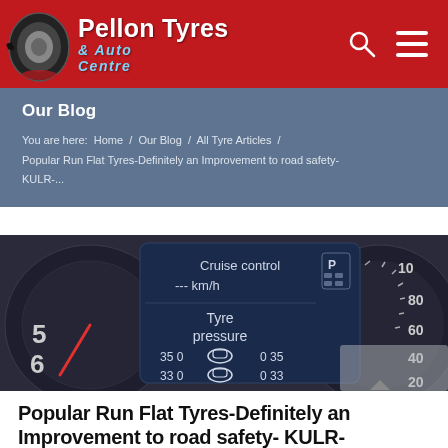Pellon Tyres & Auto Centre
Our Blog
You are here:  Home / Our Blog / All Tyre Articles / Popular Run Flat Tyres-Definitely an Improvement to road safety- KULR-...
[Figure (photo): Car dashboard display showing cruise control, km/h, tyre pressure readings (35 front, 35 rear top, 33 front, 33 rear bottom) alongside speedometer gauges]
Popular Run Flat Tyres-Definitely an Improvement to road safety- KULR-